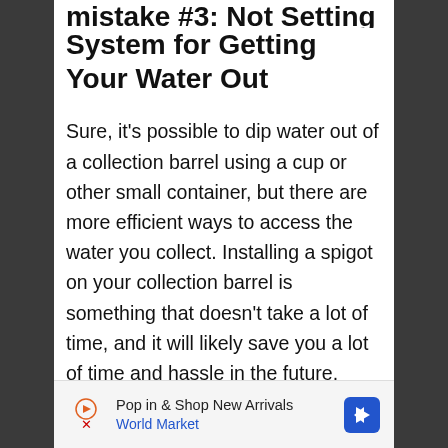mistake #3: Not Setting up a System for Getting Your Water Out
Sure, it's possible to dip water out of a collection barrel using a cup or other small container, but there are more efficient ways to access the water you collect. Installing a spigot on your collection barrel is something that doesn't take a lot of time, and it will likely save you a lot of time and hassle in the future.
If you want to really boost the amount of water that you are able to withdraw, you can
Pop in & Shop New Arrivals World Market